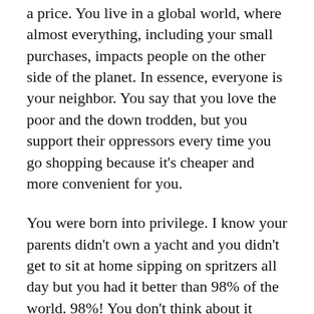a price. You live in a global world, where almost everything, including your small purchases, impacts people on the other side of the planet. In essence, everyone is your neighbor. You say that you love the poor and the down trodden, but you support their oppressors every time you go shopping because it's cheaper and more convenient for you.
You were born into privilege. I know your parents didn't own a yacht and you didn't get to sit at home sipping on spritzers all day but you had it better than 98% of the world. 98%! You don't think about it because you're only seeing the Bill Gates and the movie stars. Even people at the poverty line in America live better than 86% of the world's population. You and the rest of your society spend your wealth on things that you didn't need, that you throw away, that you never wear, that